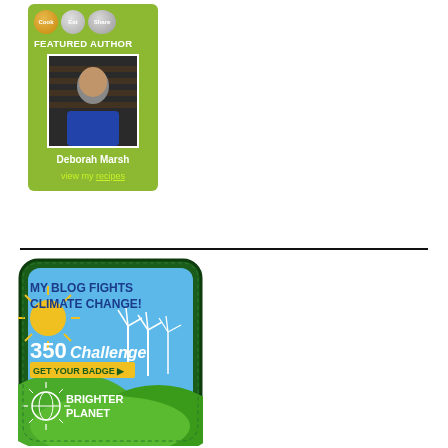[Figure (infographic): Cook Eat Share Featured Author widget with green background. Shows circular logos for Cook, Eat, Share at top. Text 'FEATURED AUTHOR'. Photo of Deborah Marsh. Name 'Deborah Marsh' in white bold. Link text 'view my recipes'.]
[Figure (infographic): Brighter Planet 350 Challenge badge. Dark green stitched border. Sky blue background with wind turbines and green hills. Text: 'MY BLOG FIGHTS CLIMATE CHANGE!', '350 Challenge', 'GET YOUR BADGE', 'BRIGHTER PLANET' with globe logo.]